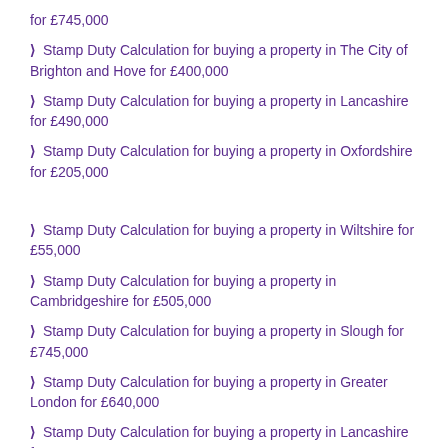for £745,000
Stamp Duty Calculation for buying a property in The City of Brighton and Hove for £400,000
Stamp Duty Calculation for buying a property in Lancashire for £490,000
Stamp Duty Calculation for buying a property in Oxfordshire for £205,000
Stamp Duty Calculation for buying a property in Wiltshire for £55,000
Stamp Duty Calculation for buying a property in Cambridgeshire for £505,000
Stamp Duty Calculation for buying a property in Slough for £745,000
Stamp Duty Calculation for buying a property in Greater London for £640,000
Stamp Duty Calculation for buying a property in Lancashire for